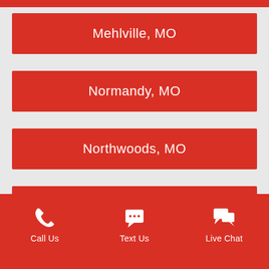Mehlville, MO
Normandy, MO
Northwoods, MO
O'Fallon, MO
Oakville, MO
Call Us | Text Us | Live Chat